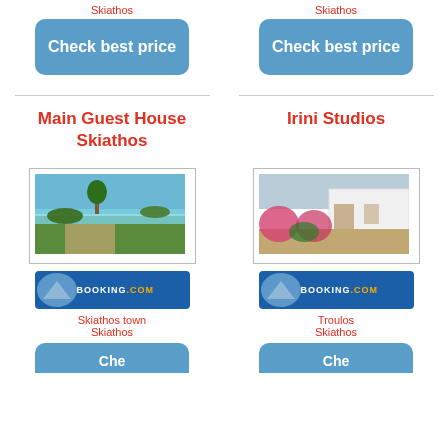Skiathos
[Figure (other): Check best price blue button]
Skiathos
[Figure (other): Check best price blue button]
Main Guest House Skiathos
Irini Studios
[Figure (photo): Hotel/resort pool area with gardens and sea view]
[Figure (photo): White building exterior with flowering shrubs]
[Figure (logo): Booking.com logo banner]
[Figure (logo): Booking.com logo banner]
Skiathos town
Skiathos
Troulos
Skiathos
[Figure (other): Partial check best price blue button]
[Figure (other): Partial check best price blue button]